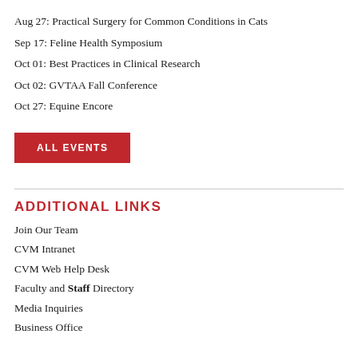Aug 27: Practical Surgery for Common Conditions in Cats
Sep 17: Feline Health Symposium
Oct 01: Best Practices in Clinical Research
Oct 02: GVTAA Fall Conference
Oct 27: Equine Encore
ALL EVENTS
ADDITIONAL LINKS
Join Our Team
CVM Intranet
CVM Web Help Desk
Faculty and Staff Directory
Media Inquiries
Business Office